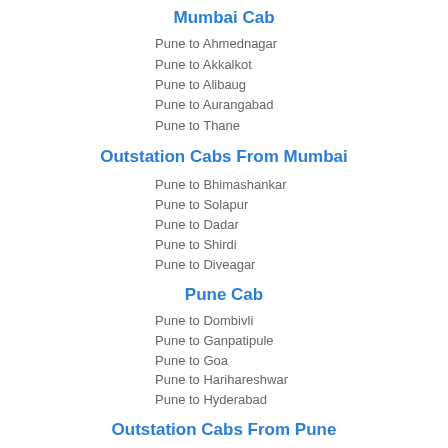Mumbai Cab
Pune to Ahmednagar
Pune to Akkalkot
Pune to Alibaug
Pune to Aurangabad
Pune to Thane
Outstation Cabs From Mumbai
Pune to Bhimashankar
Pune to Solapur
Pune to Dadar
Pune to Shirdi
Pune to Diveagar
Pune Cab
Pune to Dombivli
Pune to Ganpatipule
Pune to Goa
Pune to Harihareshwar
Pune to Hyderabad
Outstation Cabs From Pune
Pune to Igatpuri
Pune to Jejuri
Pune to Kalyan
Pune to Karad
Pune to Karjat
Full Day Taxi in Pune
Pune to Kashid beach